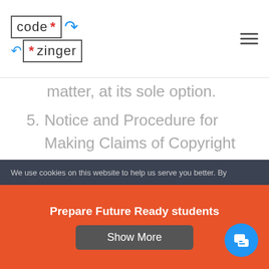[Figure (logo): Codezinger logo with two boxes labeled code and zinger with red asterisks and blue arrows]
matter, at its sole option.
5. Notice and Procedure for Making Claims of Copyright InfringementIf User believe that User’s work has been copied in a way that constitutes copyright
We use cookies on this website to help us serve you better. By
Prepare Future Ready students
Show More